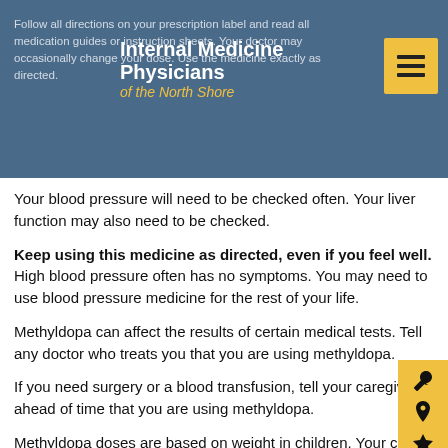Internal Medicine Physicians of the North Shore
Follow all directions on your prescription label and read all medication guides or instruction sheets. Your doctor may occasionally change your dose. Use the medicine exactly as directed.
Your blood pressure will need to be checked often. Your liver function may also need to be checked.
Keep using this medicine as directed, even if you feel well. High blood pressure often has no symptoms. You may need to use blood pressure medicine for the rest of your life.
Methyldopa can affect the results of certain medical tests. Tell any doctor who treats you that you are using methyldopa.
If you need surgery or a blood transfusion, tell your caregivers ahead of time that you are using methyldopa.
Methyldopa doses are based on weight in children. Your child's dose needs may change if the child gains or loses weight.
Store at room temperature away from moisture, heat, and light.